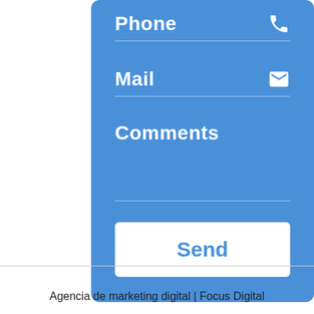[Figure (screenshot): Contact form on a blue card with fields for Phone, Mail, Comments and a Send button]
Agencia de marketing digital | Focus Digital